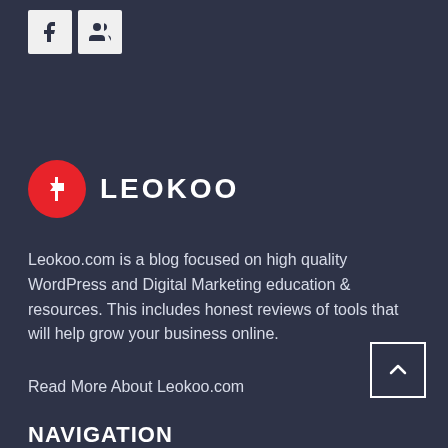[Figure (logo): Social media icons: Facebook (f) and a group/people icon, shown as light gray square buttons]
[Figure (logo): Leokoo logo: red circle with white signpost arrow icon, followed by bold white text LEOKOO]
Leokoo.com is a blog focused on high quality WordPress and Digital Marketing education & resources. This includes honest reviews of tools that will help grow your business online.
Read More About Leokoo.com
[Figure (other): Back to top button: white bordered square with upward arrow]
NAVIGATION